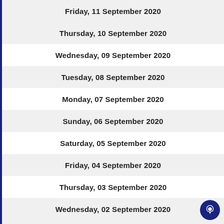Friday, 11 September 2020
Thursday, 10 September 2020
Wednesday, 09 September 2020
Tuesday, 08 September 2020
Monday, 07 September 2020
Sunday, 06 September 2020
Saturday, 05 September 2020
Friday, 04 September 2020
Thursday, 03 September 2020
Wednesday, 02 September 2020